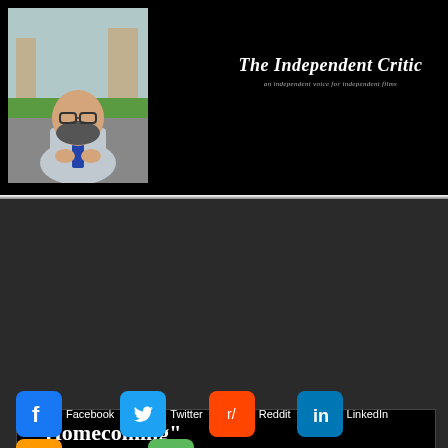[Figure (photo): Man with beard wearing plaid shirt and tie, seated outdoors in front of stone architecture and greenery]
[Figure (logo): The Independent Critic logo with italic serif font and tagline 'an independent voice for independent films']
"Homecoming" Screens at 2017 Heartland Film Festival
[Figure (infographic): Social sharing buttons: Facebook, Twitter, Reddit, LinkedIn, Add to favorites, Email]